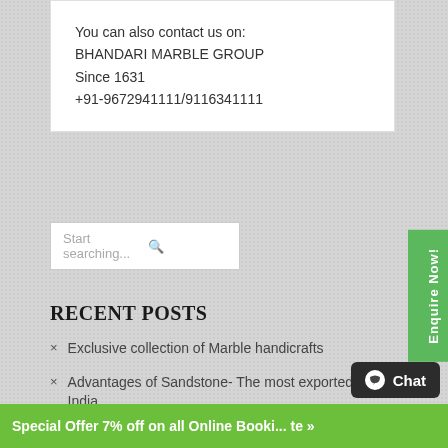You can also contact us on:
BHANDARI MARBLE GROUP
Since 1631
+91-9672941111/9116341111
[Figure (screenshot): Search input box with placeholder text 'Start searching...' and a search icon]
RECENT POSTS
Exclusive collection of Marble handicrafts
Advantages of Sandstone- The most exported stone from India
STONE OF THE MONTH- FANTASY BROWN MARBLE
Special Offer 7% off on all Online Booking. te »